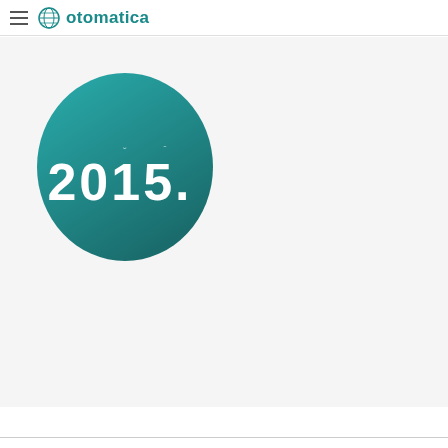otomatica
[Figure (logo): Teal rounded oval shape containing white bold text '2015.' with a small decorative element above the zero]